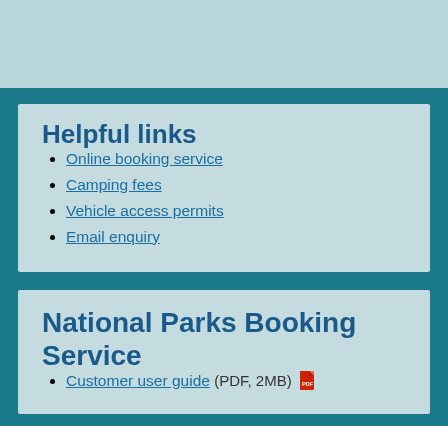Helpful links
Online booking service
Camping fees
Vehicle access permits
Email enquiry
National Parks Booking Service
Customer user guide (PDF, 2MB)